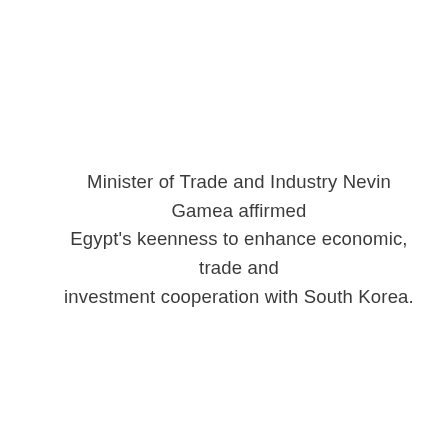Minister of Trade and Industry Nevin Gamea affirmed Egypt's keenness to enhance economic, trade and investment cooperation with South Korea.